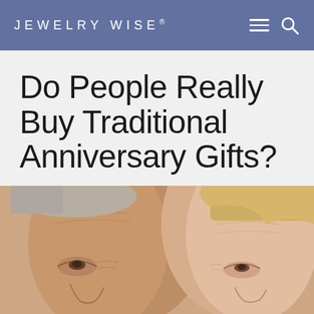JEWELRY WISE®
Do People Really Buy Traditional Anniversary Gifts?
[Figure (photo): Close-up photo of an older couple smiling together, faces visible from forehead to mid-face. Man on left with gray hair and wrinkles, woman on right with blonde hair.]